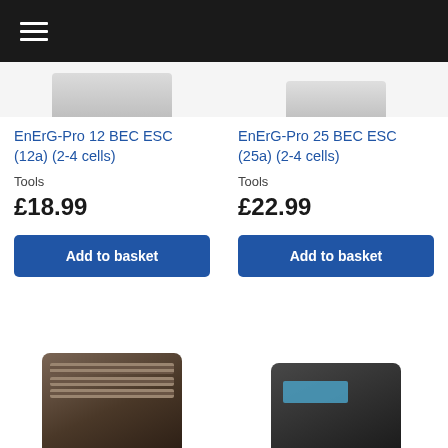≡
[Figure (photo): Partial product image top-left (ESC component, cropped)]
[Figure (photo): Partial product image top-right (ESC component, cropped)]
EnErG-Pro 12 BEC ESC (12a) (2-4 cells)
Tools
£18.99
Add to basket
EnErG-Pro 25 BEC ESC (25a) (2-4 cells)
Tools
£22.99
Add to basket
[Figure (photo): Partial product image bottom-left (device, partially visible)]
[Figure (photo): Partial product image bottom-right (device with blue display, partially visible)]